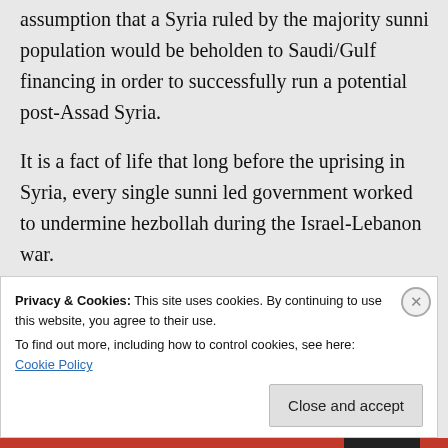assumption that a Syria ruled by the majority sunni population would be beholden to Saudi/Gulf financing in order to successfully run a potential post-Assad Syria.
It is a fact of life that long before the uprising in Syria, every single sunni led government worked to undermine hezbollah during the Israel-Lebanon war.
↳ Reply
Privacy & Cookies: This site uses cookies. By continuing to use this website, you agree to their use.
To find out more, including how to control cookies, see here: Cookie Policy